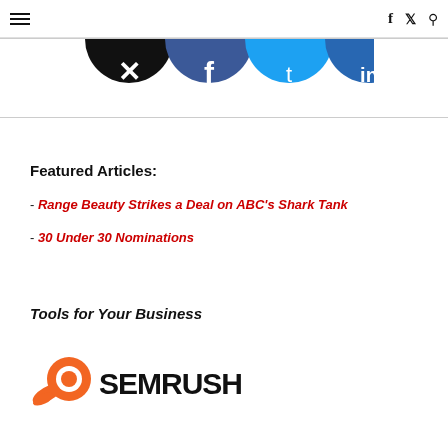≡  f  ✦  🔍
[Figure (illustration): Social media sharing icons row: Twitter/X black, Facebook blue, Twitter light blue, LinkedIn dark blue — bottom halves of circles visible at top of banner area]
Featured Articles:
- Range Beauty Strikes a Deal on ABC's Shark Tank
- 30 Under 30 Nominations
Tools for Your Business
[Figure (logo): SEMrush logo: orange rocket/comet icon on left, bold black SEMRUSH text on right]